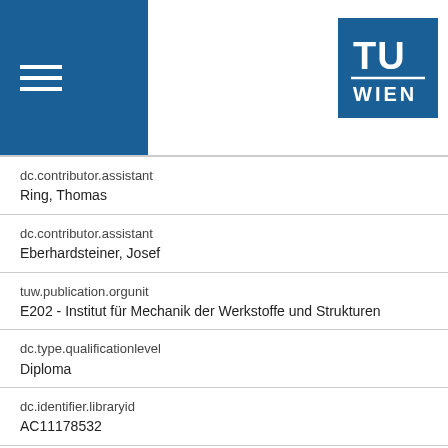TU Wien
| Field | Value |
| --- | --- |
| dc.contributor.assistant | Ring, Thomas |
| dc.contributor.assistant | Eberhardsteiner, Josef |
| tuw.publication.orgunit | E202 - Institut für Mechanik der Werkstoffe und Strukturen |
| dc.type.qualificationlevel | Diploma |
| dc.identifier.libraryid | AC11178532 |
| dc.description.numberOfPages | 86 |
| dc.identifier.urn |  |